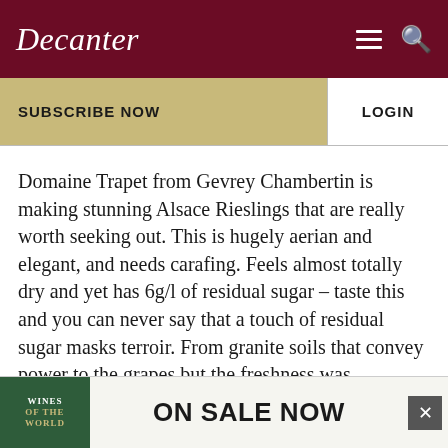Decanter
SUBSCRIBE NOW
LOGIN
Domaine Trapet from Gevrey Chambertin is making stunning Alsace Rieslings that are really worth seeking out. This is hugely aerian and elegant, and needs carafing. Feels almost totally dry and yet has 6g/l of residual sugar – taste this and you can never say that a touch of residual sugar masks terroir. From granite soils that convey power to the grapes but the freshness was emphasised in the 2013 vintage. 3.15ph, 6g/l sugar, 12.5%abv
[Figure (infographic): Advertisement banner for Wines of the World ON SALE NOW with close button]